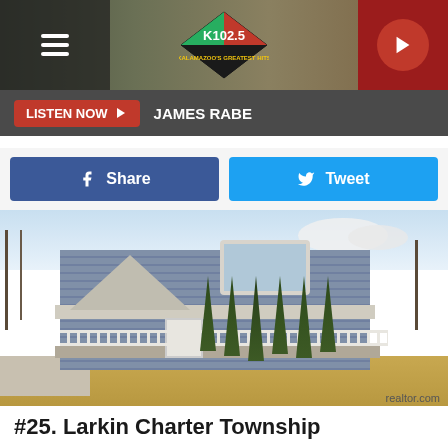[Figure (logo): K102.5 Kalamazoo's Greatest Hits radio station logo in diamond shape with red, green, black colors. Navigation header with hamburger menu and play button.]
LISTEN NOW ▶  JAMES RABE
[Figure (other): Facebook Share button (blue) and Twitter Tweet button (cyan) side by side]
[Figure (photo): Exterior photo of a two-story house with gray/blue siding, white trim, covered front porch with white railings, bay window on second floor, and row of tall evergreen shrubs along the front. Dormant lawn and bare trees visible. realtor.com watermark.]
#25. Larkin Charter Township